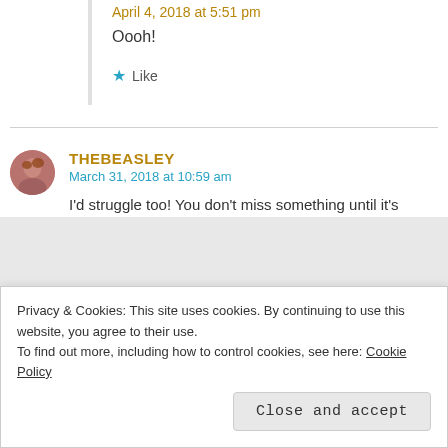April 4, 2018 at 5:51 pm
Oooh!
Like
THEBEASLEY
March 31, 2018 at 10:59 am
I'd struggle too! You don't miss something until it's
Privacy & Cookies: This site uses cookies. By continuing to use this website, you agree to their use.
To find out more, including how to control cookies, see here: Cookie Policy
Close and accept